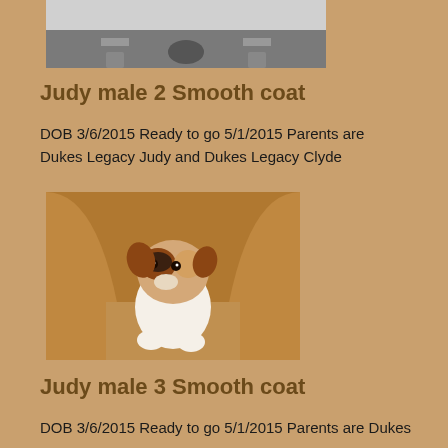[Figure (photo): Partial photo of what appears to be a dog in a crate or kennel, black and white / gray tones visible at top of page]
Judy male 2 Smooth coat
DOB 3/6/2015 Ready to go 5/1/2015 Parents are Dukes Legacy Judy and Dukes Legacy Clyde
[Figure (photo): Photo of a small Jack Russell Terrier puppy with brown, black and white markings sitting on a brown leather chair]
Judy male 3 Smooth coat
DOB 3/6/2015 Ready to go 5/1/2015 Parents are Dukes